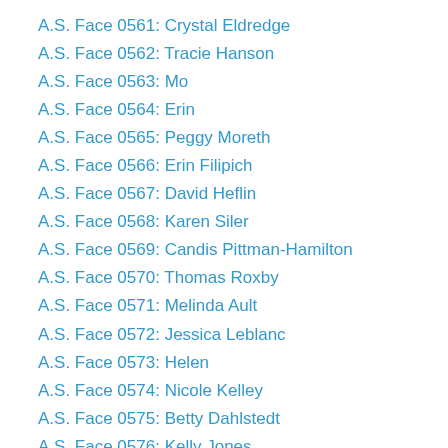A.S. Face 0561: Crystal Eldredge
A.S. Face 0562: Tracie Hanson
A.S. Face 0563: Mo
A.S. Face 0564: Erin
A.S. Face 0565: Peggy Moreth
A.S. Face 0566: Erin Filipich
A.S. Face 0567: David Heflin
A.S. Face 0568: Karen Siler
A.S. Face 0569: Candis Pittman-Hamilton
A.S. Face 0570: Thomas Roxby
A.S. Face 0571: Melinda Ault
A.S. Face 0572: Jessica Leblanc
A.S. Face 0573: Helen
A.S. Face 0574: Nicole Kelley
A.S. Face 0575: Betty Dahlstedt
A.S. Face 0576: Kelly Jones
A.S. Face 0577: Michael Rittmann
A.S. Face 0578: Matthew Duerksen
A.S. Face 0579: Steve Morris
A.S. Face 0580: Jennifer Aiello